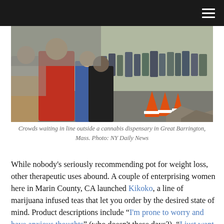Navigation menu
[Figure (photo): Crowds of people standing in a long queue outside a cannabis dispensary in a parking lot, with orange traffic cones lining the path.]
Crowds waiting in line outside a cannabis dispensary in Great Barrington, Mass. Photo: NY Daily News
While nobody's seriously recommending pot for weight loss, other therapeutic uses abound. A couple of enterprising women here in Marin County, CA launched Kikoko, a line of marijuana infused teas that let you order by the desired state of mind. Product descriptions include "I'm prone to worry and have anxious thoughts" (who doesn't these days?), "I just want to go to sleep," and the ever-popular "My sex drive